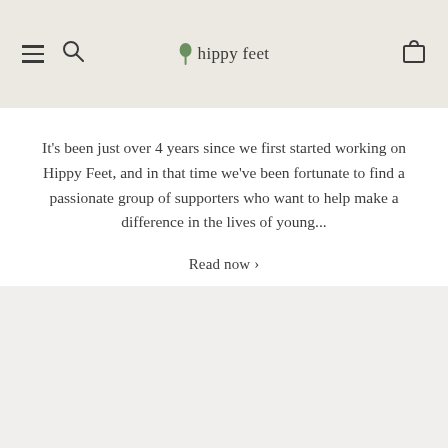hippy feet
It’s been just over 4 years since we first started working on Hippy Feet, and in that time we’ve been fortunate to find a passionate group of supporters who want to help make a difference in the lives of young...
Read now ›
[Figure (other): Gray/light background section at the bottom of the page]